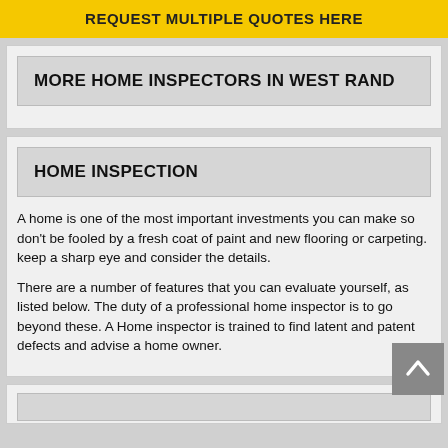REQUEST MULTIPLE QUOTES HERE
MORE HOME INSPECTORS IN WEST RAND
HOME INSPECTION
A home is one of the most important investments you can make so don't be fooled by a fresh coat of paint and new flooring or carpeting. keep a sharp eye and consider the details.
There are a number of features that you can evaluate yourself, as listed below. The duty of a professional home inspector is to go beyond these. A Home inspector is trained to find latent and patent defects and advise a home owner.